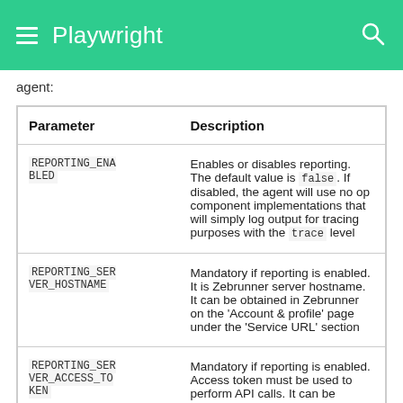Playwright
agent:
| Parameter | Description |
| --- | --- |
| REPORTING_ENABLED | Enables or disables reporting. The default value is false. If disabled, the agent will use no op component implementations that will simply log output for tracing purposes with the trace level |
| REPORTING_SERVER_HOSTNAME | Mandatory if reporting is enabled. It is Zebrunner server hostname. It can be obtained in Zebrunner on the 'Account & profile' page under the 'Service URL' section |
| REPORTING_SERVER_ACCESS_TOKEN | Mandatory if reporting is enabled. Access token must be used to perform API calls. It can be obtained in Zebrunner on the 'Account |